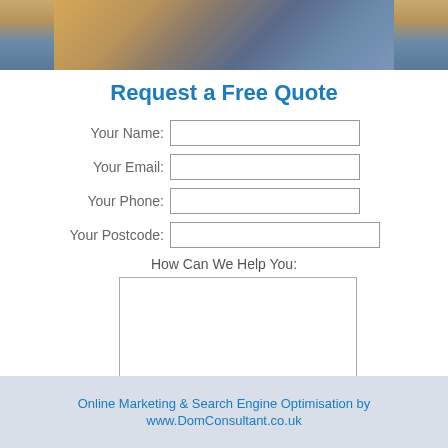[Figure (photo): Partial photo of a person in blue jeans and yellow garment, cropped at top of page]
Request a Free Quote
Your Name:
Your Email:
Your Phone:
Your Postcode:
How Can We Help You:
[Figure (screenshot): Send Now button — blue rounded rectangle with white bold italic text 'SEND NOW' and cursor pointer icon below]
Online Marketing & Search Engine Optimisation by www.DomConsultant.co.uk